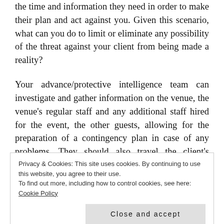the time and information they need in order to make their plan and act against you. Given this scenario, what can you do to limit or eliminate any possibility of the threat against your client from being made a reality?
Your advance/protective intelligence team can investigate and gather information on the venue, the venue's regular staff and any additional staff hired for the event, the other guests, allowing for the preparation of a contingency plan in case of any problems. They should also travel the client's primary proposed route a short time before the client and observe for surveillance or
Privacy & Cookies: This site uses cookies. By continuing to use this website, you agree to their use.
To find out more, including how to control cookies, see here: Cookie Policy
Close and accept
dangerous to show your principal considers this a place